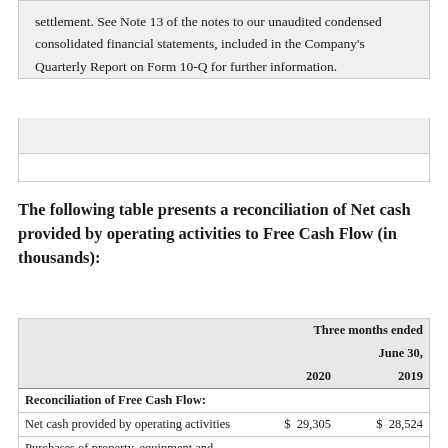settlement. See Note 13 of the notes to our unaudited condensed consolidated financial statements, included in the Company's Quarterly Report on Form 10-Q for further information.
The following table presents a reconciliation of Net cash provided by operating activities to Free Cash Flow (in thousands):
|  | Three months ended June 30, 2020 | Three months ended June 30, 2019 |
| --- | --- | --- |
| Reconciliation of Free Cash Flow: |  |  |
| Net cash provided by operating activities | $ 29,305 | $ 28,524 |
| Purchases of property, equipment and |  |  |